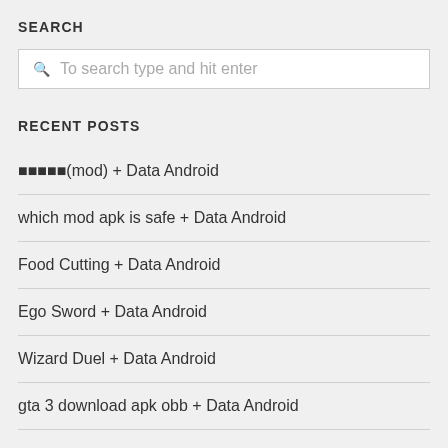SEARCH
To search type and hit enter
RECENT POSTS
■■■■■(mod) + Data Android
which mod apk is safe + Data Android
Food Cutting + Data Android
Ego Sword + Data Android
Wizard Duel + Data Android
gta 3 download apk obb + Data Android